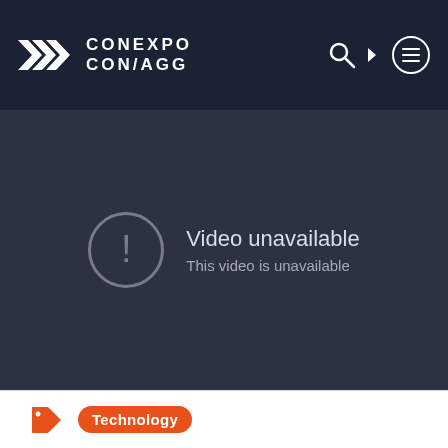CONEXPO CON/AGG
[Figure (screenshot): Video unavailable error screen with exclamation mark icon in circle, text 'Video unavailable' and 'This video is unavailable' on dark background]
Technology